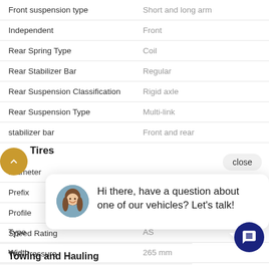| Feature | Value |
| --- | --- |
| Front suspension type | Short and long arm |
| Independent | Front |
| Rear Spring Type | Coil |
| Rear Stabilizer Bar | Regular |
| Rear Suspension Classification | Rigid axle |
| Rear Suspension Type | Multi-link |
| stabilizer bar | Front and rear |
Tires
| Feature | Value |
| --- | --- |
| Diameter |  |
| Prefix |  |
| Profile |  |
| Speed Rating |  |
| Tire Pressure |  |
| Type | AS |
| Width | 265 mm |
Towing and Hauling
[Figure (screenshot): Chat popup overlay with avatar photo of a woman and message: Hi there, have a question about one of our vehicles? Let's talk!]
[Figure (other): Gold circular scroll-up button with upward chevron icon]
close
[Figure (other): Dark blue circular chat icon button]